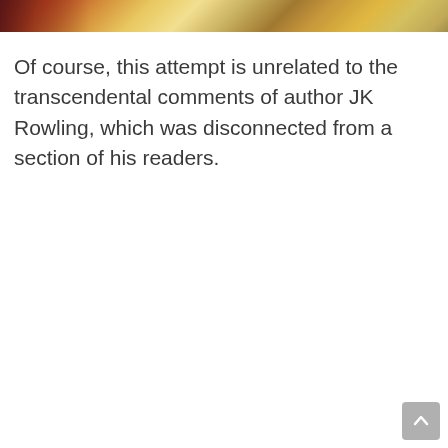[Figure (photo): Partial view of a room with books and colorful items on shelves, warm tones of red, orange, yellow and wood colors]
Of course, this attempt is unrelated to the transcendental comments of author JK Rowling, which was disconnected from a section of his readers.